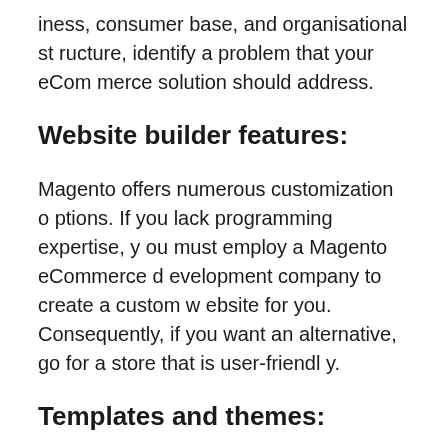iness, consumer base, and organisational structure, identify a problem that your eCommerce solution should address.
Website builder features:
Magento offers numerous customization options. If you lack programming expertise, you must employ a Magento eCommerce development company to create a custom website for you. Consequently, if you want an alternative, go for a store that is user-friendly.
Templates and themes:
Consider a platform with a variety of easily-c